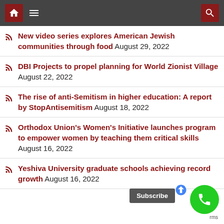Navigation bar with home, menu, and search icons
New video series explores American Jewish communities through food August 29, 2022
DBI Projects to propel planning for World Zionist Village August 22, 2022
The rise of anti-Semitism in higher education: A report by StopAntisemitism August 18, 2022
Orthodox Union's Women's Initiative launches program to empower women by teaching them critical skills August 16, 2022
Yeshiva University graduate schools achieving record growth August 16, 2022